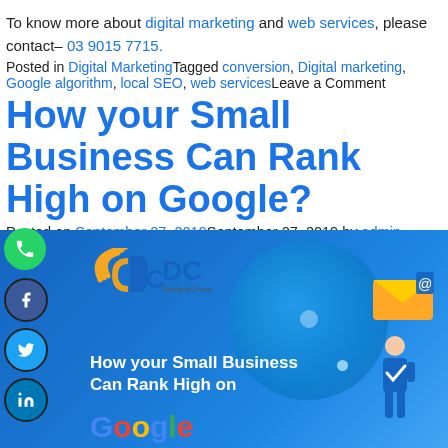To know more about digital marketing and web services, please contact– 03 9015 7715.
Posted in Digital MarketingTagged conversion, Digital marketing, Google algorithm, local SEO, web servicesLeave a Comment
How your Small Business Can Rank High on Google?
Posted on September 27, 2019September 27, 2019 by admin
[Figure (illustration): DC DesignsCloud logo banner with blue background showing 'How your Small Business Can Rank High on Google?' text with colorful Google wordmark and illustrated person with envelope]